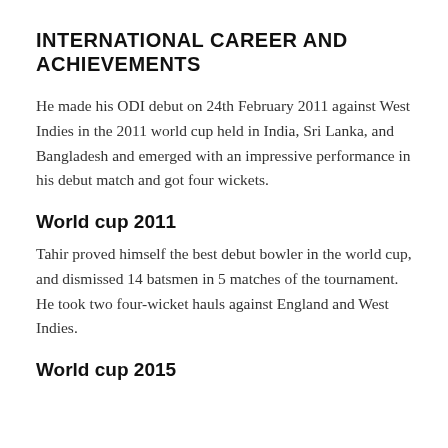INTERNATIONAL CAREER AND ACHIEVEMENTS
He made his ODI debut on 24th February 2011 against West Indies in the 2011 world cup held in India, Sri Lanka, and Bangladesh and emerged with an impressive performance in his debut match and got four wickets.
World cup 2011
Tahir proved himself the best debut bowler in the world cup, and dismissed 14 batsmen in 5 matches of the tournament. He took two four-wicket hauls against England and West Indies.
World cup 2015